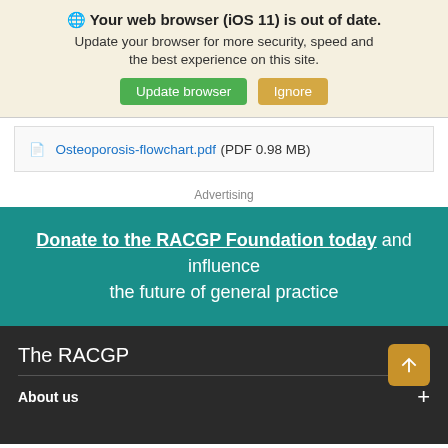🌐 Your web browser (iOS 11) is out of date. Update your browser for more security, speed and the best experience on this site.
Update browser | Ignore
Osteoporosis-flowchart.pdf (PDF 0.98 MB)
Advertising
Donate to the RACGP Foundation today and influence the future of general practice
The RACGP
About us